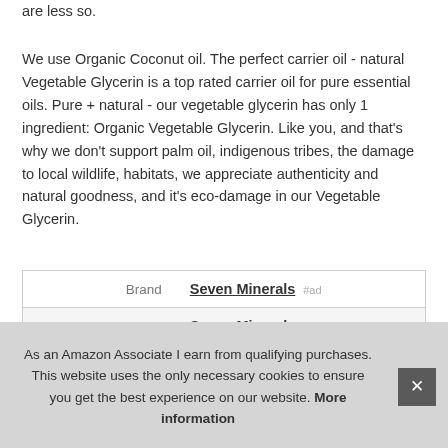are less so.
We use Organic Coconut oil. The perfect carrier oil - natural Vegetable Glycerin is a top rated carrier oil for pure essential oils. Pure + natural - our vegetable glycerin has only 1 ingredient: Organic Vegetable Glycerin. Like you, and that's why we don't support palm oil, indigenous tribes, the damage to local wildlife, habitats, we appreciate authenticity and natural goodness, and it's eco-damage in our Vegetable Glycerin.
|  |  |
| --- | --- |
| Brand | Seven Minerals #ad |
| Manufacturer | Seven Minerals #ad |
| P |  |
As an Amazon Associate I earn from qualifying purchases. This website uses the only necessary cookies to ensure you get the best experience on our website. More information
More information #ad